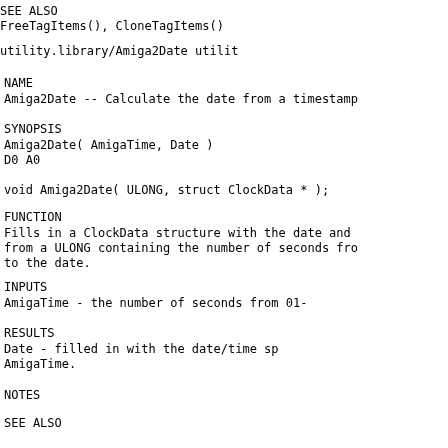SEE ALSO
        FreeTagItems(), CloneTagItems()
utility.library/Amiga2Date                                    utilit
NAME
Amiga2Date -- Calculate the date from a timestamp
SYNOPSIS
Amiga2Date( AmigaTime, Date )
                    D0            A0

        void Amiga2Date( ULONG, struct ClockData * );
FUNCTION
Fills in a ClockData structure with the date and
        from a ULONG containing the number of seconds fro
        to the date.
INPUTS
AmigaTime        - the number of seconds from 01-
RESULTS
Date             - filled in with the date/time sp
                           AmigaTime.
NOTES
SEE ALSO